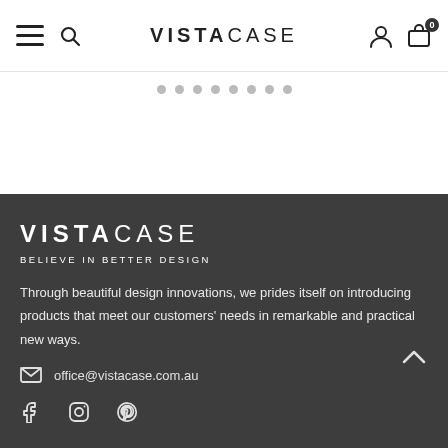VISTACASE
[Figure (other): Carousel pagination dots — 8 dots indicating slideshow position]
[Figure (logo): VISTACASE logo in white text on dark background with tagline BELIEVE IN BETTER DESIGN]
BELIEVE IN BETTER DESIGN
Through beautiful design innovations, we prides itself on introducing products that meet our customers' needs in remarkable and practical new ways.
office@vistacase.com.au
[Figure (other): Social media icons: Facebook, Instagram, Pinterest]